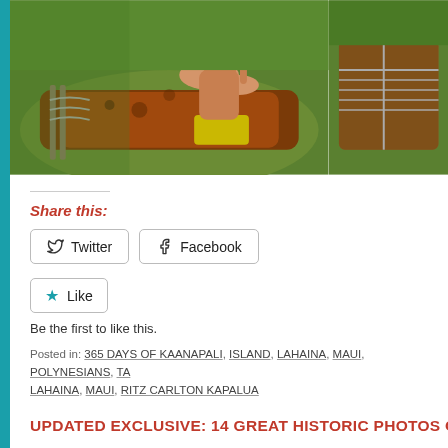[Figure (photo): Two photos side by side showing hands working with food wrapped in banana leaves or similar, on green grass background. Left photo shows hands touching/preparing a large wrapped food item. Right photo shows a similarly wrapped package with rope ties.]
Share this:
Twitter  Facebook
★ Like
Be the first to like this.
Posted in: 365 DAYS OF KAANAPALI, ISLAND, LAHAINA, MAUI, POLYNESIANS, TA LAHAINA, MAUI, RITZ CARLTON KAPALUA
UPDATED EXCLUSIVE: 14 GREAT HISTORIC PHOTOS OF